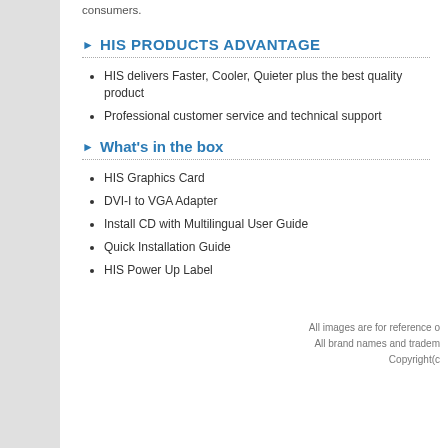consumers.
HIS PRODUCTS ADVANTAGE
HIS delivers Faster, Cooler, Quieter plus the best quality product
Professional customer service and technical support
What's in the box
HIS Graphics Card
DVI-I to VGA Adapter
Install CD with Multilingual User Guide
Quick Installation Guide
HIS Power Up Label
All images are for reference o…
All brand names and tradem…
Copyright(c…